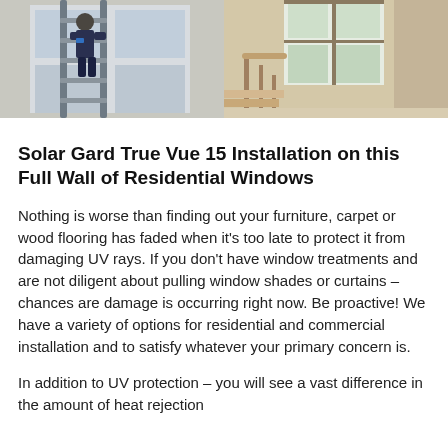[Figure (photo): Two-panel photo strip: left panel shows a person on a ladder installing window film on tall windows in a residential interior; right panel shows a bright residential staircase with large windows and wood railings.]
Solar Gard True Vue 15 Installation on this Full Wall of Residential Windows
Nothing is worse than finding out your furniture, carpet or wood flooring has faded when it’s too late to protect it from damaging UV rays. If you don’t have window treatments and are not diligent about pulling window shades or curtains – chances are damage is occurring right now. Be proactive! We have a variety of options for residential and commercial installation and to satisfy whatever your primary concern is.
In addition to UV protection – you will see a vast difference in the amount of heat rejection that the film provides. Here the heat is reduced